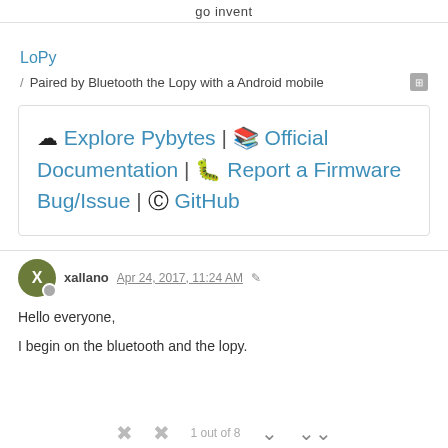go invent
LoPy
/ Paired by Bluetooth the Lopy with a Android mobile
☁ Explore Pybytes | 📖 Official Documentation | 🐛 Report a Firmware Bug/Issue | ⊙ GitHub
xallano Apr 24, 2017, 11:24 AM
Hello everyone,
I begin on the bluetooth and the lopy.
1 out of 8